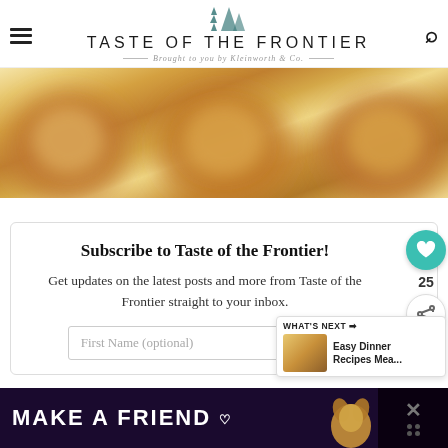TASTE OF THE FRONTIER — Brought to you by Kleinworth & Co.
[Figure (photo): Close-up blurred photo of golden-brown round baked cookies/donuts on a baking sheet, warm amber tones]
Subscribe to Taste of the Frontier!
Get updates on the latest posts and more from Taste of the Frontier straight to your inbox.
First Name (optional)
[Figure (infographic): What's Next panel showing Easy Dinner Recipes Mea... with thumbnail]
[Figure (photo): Bottom advertisement banner: MAKE A FRIEND with dog image on dark purple background]